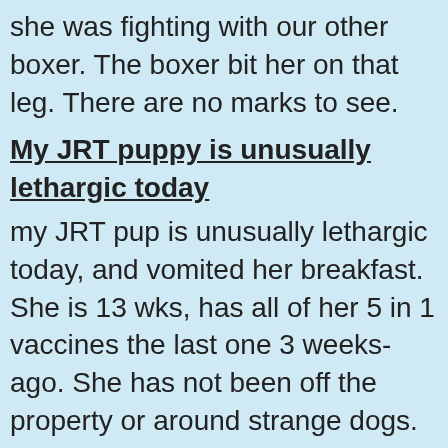she was fighting with our other boxer. The boxer bit her on that leg. There are no marks to see.
My JRT puppy is unusually lethargic today
my JRT pup is unusually lethargic today, and vomited her breakfast. She is 13 wks, has had all of her 5 in 1 vaccines the last one 3 weeks ago. She has not been off the property or around strange dogs. Her temp is 100.4. Her gums have good capillary reflex, and her skin pops right back down when pulled up. I did a fecal..no worms. Solid almost scentless stools. She has what looks like an insect bite on her ribs....any ideas?
My dog who lost 9lbs in 6 weeks and has bl